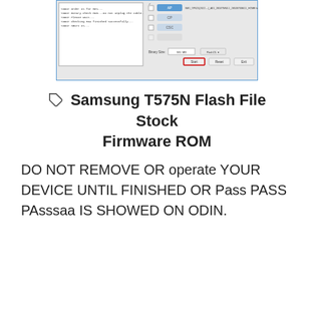[Figure (screenshot): Screenshot of Odin firmware flashing tool showing log messages, file selection fields, and Start/Reset/Exit buttons with Start button highlighted in red outline.]
Samsung T575N Flash File Stock Firmware ROM
DO NOT REMOVE OR operate YOUR DEVICE UNTIL FINISHED OR Pass PASS PAsssaa IS SHOWED ON ODIN.